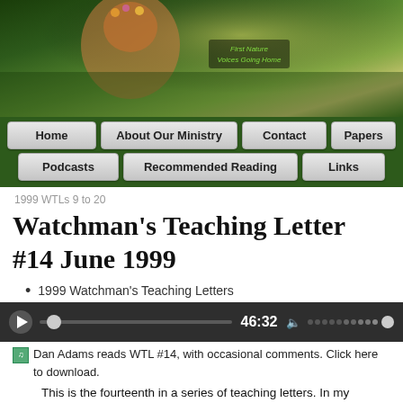[Figure (photo): Website banner with a woman with flowers in her hair against a green nature background, with overlay text 'First Nature Voices Going Home']
Home | About Our Ministry | Contact | Papers | Podcasts | Recommended Reading | Links
1999 WTLs 9 to 20
Watchman's Teaching Letter #14 June 1999
1999 Watchman's Teaching Letters
[Figure (screenshot): Audio player showing play button, progress bar, time 46:32, volume control with dots]
Dan Adams reads WTL #14, with occasional comments. Click here to download.
This is the fourteenth in a series of teaching letters. In my